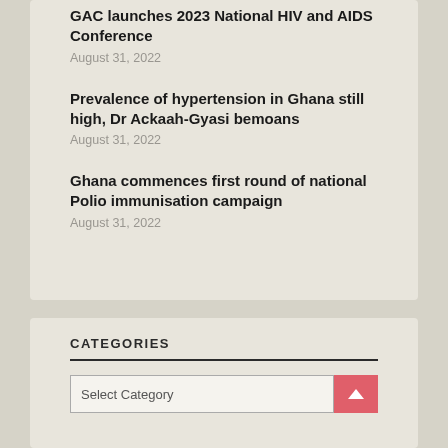GAC launches 2023 National HIV and AIDS Conference
August 31, 2022
Prevalence of hypertension in Ghana still high, Dr Ackaah-Gyasi bemoans
August 31, 2022
Ghana commences first round of national Polio immunisation campaign
August 31, 2022
CATEGORIES